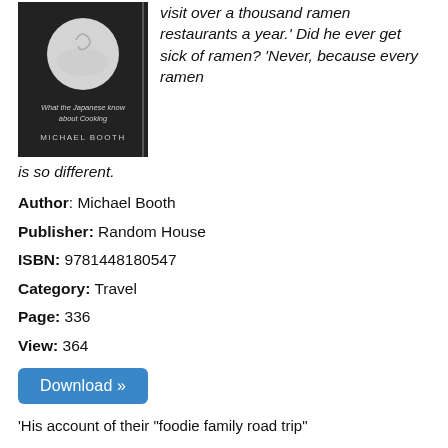[Figure (photo): Book cover: dark background with bowl illustration. Text reads 'What the Japanese know about Cooking' and 'MICHAEL BOOTH']
visit over a thousand ramen restaurants a year.' Did he ever get sick of ramen? 'Never, because every ramen is so different.
Author: Michael Booth
Publisher: Random House
ISBN: 9781448180547
Category: Travel
Page: 336
View: 364
Download »
'His account of their "foodie family road trip"